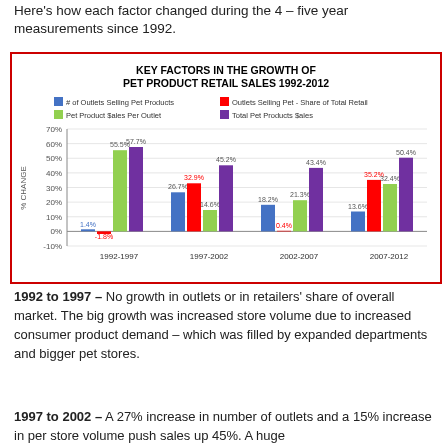Here's how each factor changed during the 4 – five year measurements since 1992.
[Figure (grouped-bar-chart): KEY FACTORS IN THE GROWTH OF PET PRODUCT RETAIL SALES 1992-2012]
1992 to 1997 – No growth in outlets or in retailers' share of overall market. The big growth was increased store volume due to increased consumer product demand – which was filled by expanded departments and bigger pet stores.
1997 to 2002 – A 27% increase in number of outlets and a 15% increase in per store volume push sales up 45%. A huge